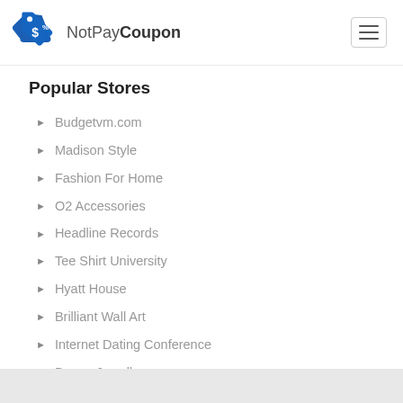NotPayCoupon
Popular Stores
Budgetvm.com
Madison Style
Fashion For Home
O2 Accessories
Headline Records
Tee Shirt University
Hyatt House
Brilliant Wall Art
Internet Dating Conference
Berrys Jewellers